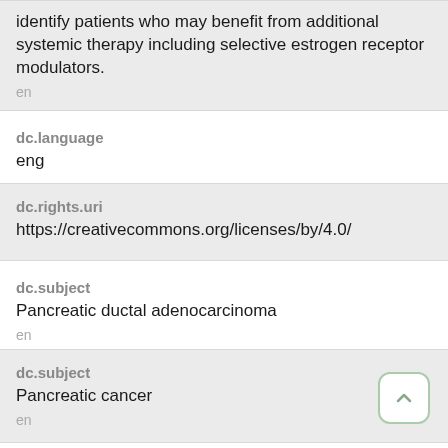identify patients who may benefit from additional systemic therapy including selective estrogen receptor modulators.
en
dc.language
eng
dc.rights.uri
https://creativecommons.org/licenses/by/4.0/
dc.subject
Pancreatic ductal adenocarcinoma
en
dc.subject
Pancreatic cancer
en